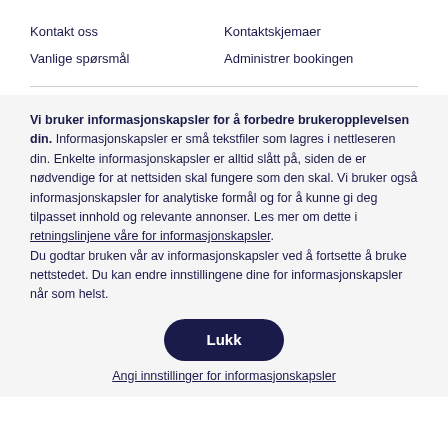Kontakt oss
Kontaktskjemaer
Vanlige spørsmål
Administrer bookingen
Vi bruker informasjonskapsler for å forbedre brukeropplevelsen din. Informasjonskapsler er små tekstfiler som lagres i nettleseren din. Enkelte informasjonskapsler er alltid slått på, siden de er nødvendige for at nettsiden skal fungere som den skal. Vi bruker også informasjonskapsler for analytiske formål og for å kunne gi deg tilpasset innhold og relevante annonser. Les mer om dette i retningslinjene våre for informasjonskapsler. Du godtar bruken vår av informasjonskapsler ved å fortsette å bruke nettstedet. Du kan endre innstillingene dine for informasjonskapsler når som helst.
Lukk
Angi innstillinger for informasjonskapsler